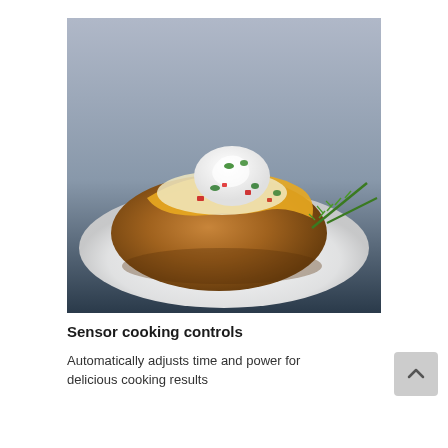[Figure (photo): A loaded baked potato on a white plate with sour cream on top, melted cheese, red peppers, and green herbs, garnished with fresh rosemary. The background is gray-blue gradient.]
Sensor cooking controls
Automatically adjusts time and power for delicious cooking results